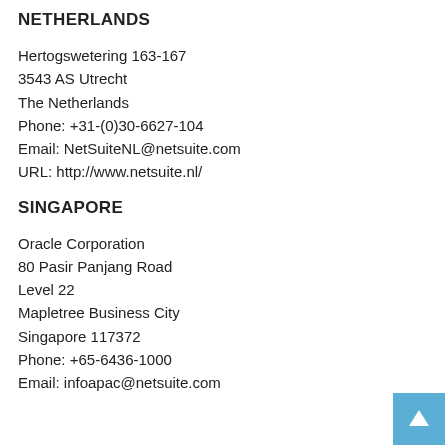NETHERLANDS
Hertogswetering 163-167
3543 AS Utrecht
The Netherlands
Phone: +31-(0)30-6627-104
Email: NetSuiteNL@netsuite.com
URL: http://www.netsuite.nl/
SINGAPORE
Oracle Corporation
80 Pasir Panjang Road
Level 22
Mapletree Business City
Singapore 117372
Phone: +65-6436-1000
Email: infoapac@netsuite.com